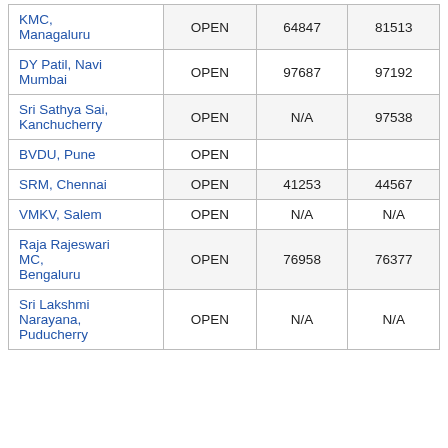| KMC, Managaluru | OPEN | 64847 | 81513 |
| DY Patil, Navi Mumbai | OPEN | 97687 | 97192 |
| Sri Sathya Sai, Kanchucherry | OPEN | N/A | 97538 |
| BVDU, Pune | OPEN |  |  |
| SRM, Chennai | OPEN | 41253 | 44567 |
| VMKV, Salem | OPEN | N/A | N/A |
| Raja Rajeswari MC, Bengaluru | OPEN | 76958 | 76377 |
| Sri Lakshmi Narayana, Puducherry | OPEN | N/A | N/A |